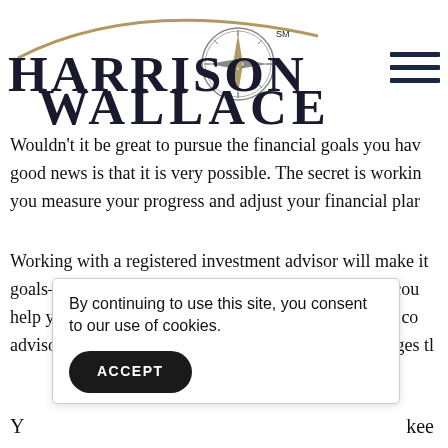[Figure (logo): Harrison Wallace financial firm logo with compass rose icon and arc above text]
Wouldn't it be great to pursue the financial goals you have good news is that it is very possible. The secret is working you measure your progress and adjust your financial plan
Working with a registered investment advisor will make it goals—and those of your partner, if you are part of a cou help you fine-tune your plan when necessary and stay co advisor will also be familiar with many of the challenges t
By continuing to use this site, you consent to our use of cookies.
ACCEPT
Y kee